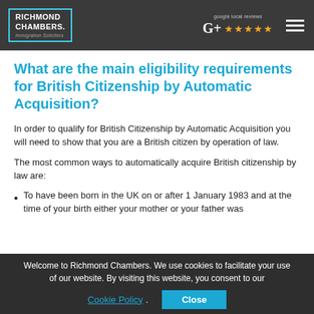RICHMOND CHAMBERS. Immigration Solicitors | google local reviews ★★★★★
What are the main eligibility requirements for British Citizenship by Automatic Acquisition?
In order to qualify for British Citizenship by Automatic Acquisition you will need to show that you are a British citizen by operation of law.
The most common ways to automatically acquire British citizenship by law are:
To have been born in the UK on or after 1 January 1983 and at the time of your birth either your mother or your father was
Welcome to Richmond Chambers. We use cookies to facilitate your use of our website. By visiting this website, you consent to our Cookie Policy. Close